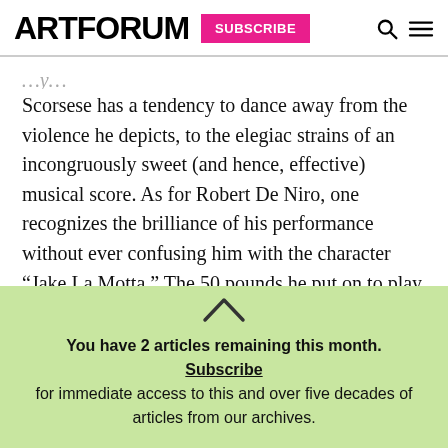ARTFORUM  SUBSCRIBE
Scorsese has a tendency to dance away from the violence he depicts, to the elegiac strains of an incongruously sweet (and hence, effective) musical score. As for Robert De Niro, one recognizes the brilliance of his performance without ever confusing him with the character “Jake La Motta.” The 50 pounds he put on to play the middle-aged La Motta are like a visceral metaphor for the mortification of the flesh that fighters endure. And when De Niro-as-
You have 2 articles remaining this month. Subscribe for immediate access to this and over five decades of articles from our archives.